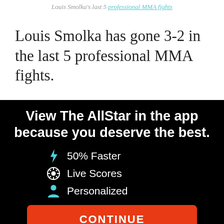Louis Smolka's last 5 professional MMA fights
Louis Smolka has gone 3-2 in the last 5 professional MMA fights.
View The AllStar in the app because you deserve the best.
⚡ 50% Faster
⚽ Live Scores
👤 Personalized
CONTINUE
or go to the mobile site